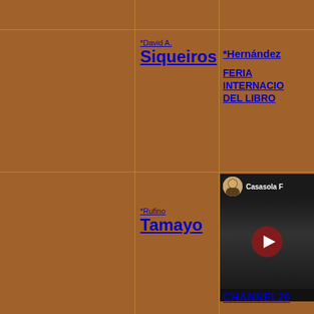*David A. Siqueiros
*Hernández
FERIA INTERNACIONAL DEL LIBRO
*Rufino Tamayo
*RIUS
[Figure (screenshot): YouTube video thumbnail showing Casasola channel with play button on dark background]
CHANNEL20